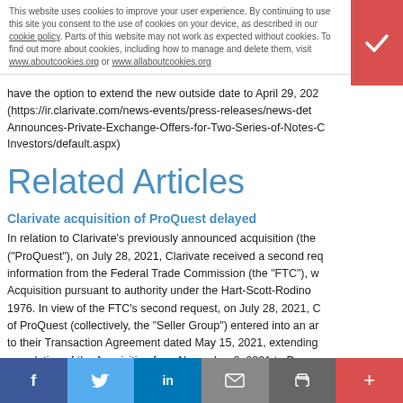This website uses cookies to improve your user experience. By continuing to use this site you consent to the use of cookies on your device, as described in our cookie policy. Parts of this website may not work as expected without cookies. To find out more about cookies, including how to manage and delete them, visit www.aboutcookies.org or www.allaboutcookies.org
have the option to extend the new outside date to April 29, 202... (https://ir.clarivate.com/news-events/press-releases/news-det... Announces-Private-Exchange-Offers-for-Two-Series-of-Notes-C... Investors/default.aspx)
Related Articles
Clarivate acquisition of ProQuest delayed
In relation to Clarivate's previously announced acquisition (the ("ProQuest"), on July 28, 2021, Clarivate received a second req information from the Federal Trade Commission (the "FTC"), w Acquisition pursuant to authority under the Hart-Scott-Rodino 1976. In view of the FTC's second request, on July 28, 2021, C of ProQuest (collectively, the "Seller Group") entered into an ar to their Transaction Agreement dated May 15, 2021, extending completion of the Acquisition from November 8, 2021 to Dece further extension. Although the Company hopes to be in a pos
f  t  in  ✉  🖨  +